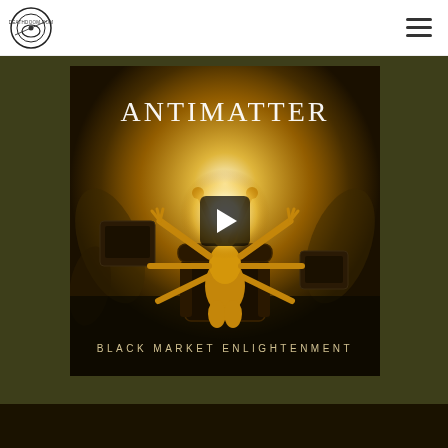deathdoom.com
[Figure (screenshot): Website screenshot showing deathdoom.com header with logo on the left and hamburger menu icon on the right, with a YouTube-style video embed of Antimatter's 'Black Market Enlightenment' album art. The album cover shows a multi-armed golden figure seated on a throne against a golden glowing background with the text 'ANTIMATTER' at top and 'BLACK MARKET ENLIGHTENMENT' at the bottom. A play button overlay appears in the center of the image. The album embed is set against an olive/dark yellow-green background.]